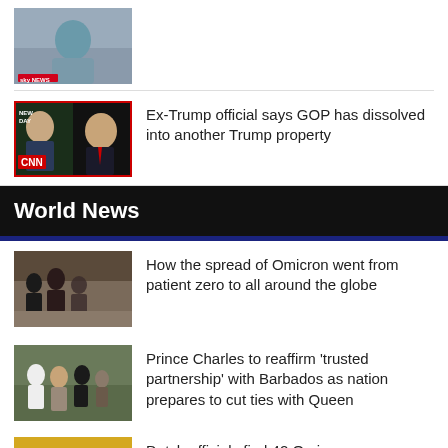[Figure (screenshot): Sky News thumbnail showing a person in a teal jacket, with Sky News logo]
[Figure (screenshot): CNN New Day thumbnail showing two men side by side - a news anchor and Donald Trump]
Ex-Trump official says GOP has dissolved into another Trump property
World News
[Figure (photo): Photo showing silhouetted people seated, related to Omicron spread story]
How the spread of Omicron went from patient zero to all around the globe
[Figure (photo): Photo showing Prince Charles with officials in Barbados]
Prince Charles to reaffirm 'trusted partnership' with Barbados as nation prepares to cut ties with Queen
[Figure (photo): Yellow-toned thumbnail for Dutch officials story]
Dutch officials find 42 Omicron cases...